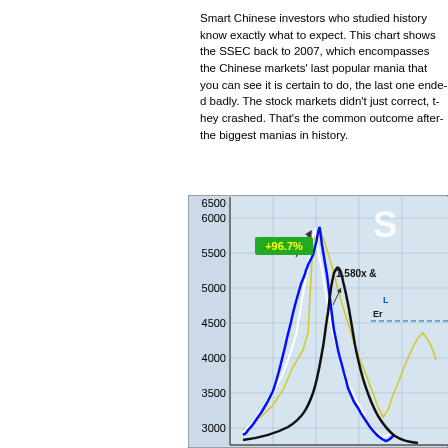Smart Chinese investors who studied history know exactly what to expect. This chart shows the SSEC back to 2007, which encompasses the Chinese markets' last popular mania that you can see it is certain to do, the last one ended badly. The stock markets didn't just correct, they crashed. That's the common outcome after the biggest manias in history.
[Figure (continuous-plot): SSEC (Shanghai Stock Exchange Composite) stock index chart from 2007 showing a mania peak around 6000-6100 with annotation +96.7% and 1.580x, with multiple overlapping lines (blue, white, yellow, black) showing the rise and crash pattern. Y-axis shows values from 3000 to 6500.]